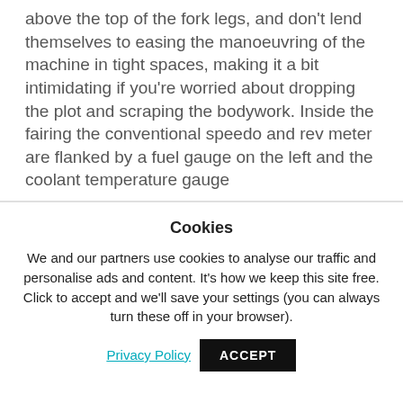above the top of the fork legs, and don't lend themselves to easing the manoeuvring of the machine in tight spaces, making it a bit intimidating if you're worried about dropping the plot and scraping the bodywork. Inside the fairing the conventional speedo and rev meter are flanked by a fuel gauge on the left and the coolant temperature gauge
Cookies
We and our partners use cookies to analyse our traffic and personalise ads and content. It's how we keep this site free. Click to accept and we'll save your settings (you can always turn these off in your browser).
Privacy Policy   ACCEPT